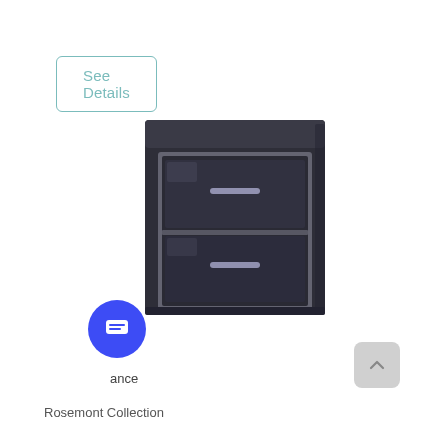See Details
[Figure (illustration): Dark charcoal two-drawer filing cabinet with silver handles and silver trim frame, viewed from a slight angle]
close
[Figure (screenshot): Chat bubble with avatar photo of a person and text: Hi there! Please reach out if you have any questions.]
Hi there! Please reach out if you have any questions.
ance
Rosemont Collection